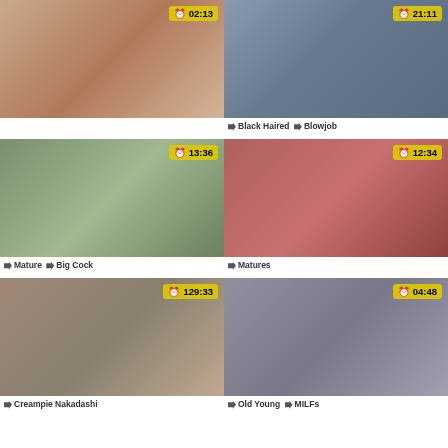[Figure (photo): Video thumbnail 1 with timer 02:13]
[Figure (photo): Video thumbnail 2 with timer 21:11]
Black Haired  Blowjob
[Figure (photo): Video thumbnail 3 with timer 13:36]
Mature  Big Cock
[Figure (photo): Video thumbnail 4 with timer 12:34]
Matures
[Figure (photo): Video thumbnail 5 with timer 129:33]
Creampie Nakadashi
[Figure (photo): Video thumbnail 6 with timer 04:48]
Old Young  MILFs